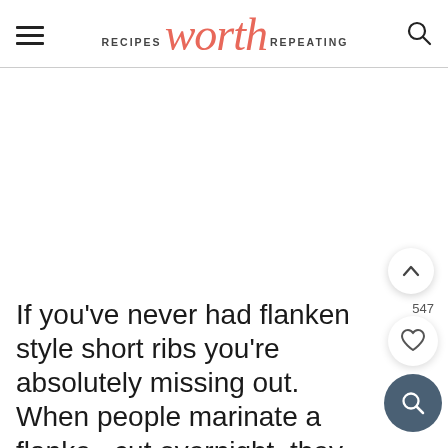RECIPES worth REPEATING
If you've never had flanken style short ribs you're absolutely missing out. When people marinate a flanke cut overnight, they are beyond crazy flavorful and delicious. This cut is also